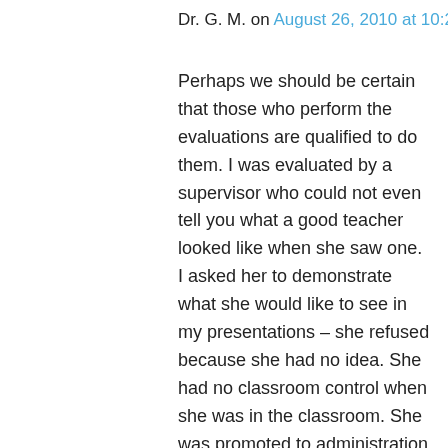Dr. G. M. on August 26, 2010 at 10:29 pm
Perhaps we should be certain that those who perform the evaluations are qualified to do them. I was evaluated by a supervisor who could not even tell you what a good teacher looked like when she saw one. I asked her to demonstrate what she would like to see in my presentations – she refused because she had no idea. She had no classroom control when she was in the classroom. She was promoted to administration for misdirecting a grand jury investigation away from questionable activities the (then) superintendent was involved with.
One such administrator was an alcoholic, swinger, who was usually drunk and chasing the